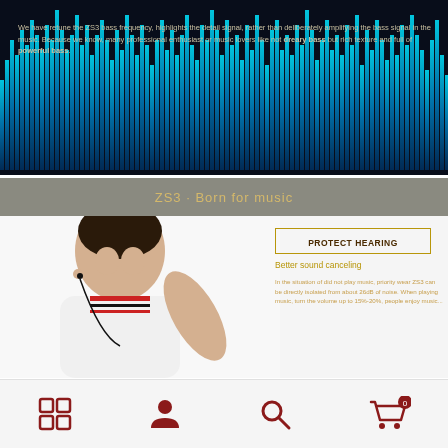[Figure (photo): Dark background with equalizer bars in blue/teal gradient, music visualizer style]
We have retune the ZS3 bass frequency, highlights the detail signal, rather than deliberately amplifying the bass signal in the music. Because we know, many professional enthusiast or music lovers like not dreary bass but rich texture and full of powerful bass.
ZS3 · Born for music
[Figure (photo): Young man wearing in-ear headphones, white polo shirt, looking down]
PROTECT HEARING
Better sound canceling
In the situation of did not play music, priority wear ZS3 can be directly isolated from about 26dB of noise. When playing music, turn the volume up to 15%-20%, people enjoy music...